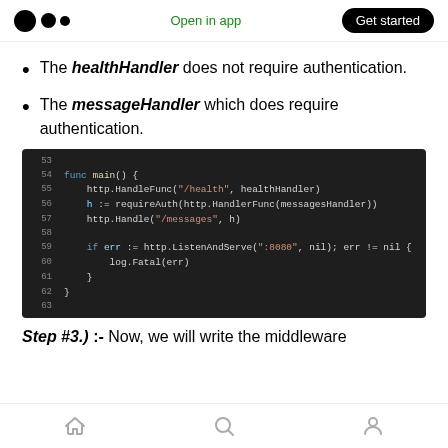Open in app | Get started
The healthHandler does not require authentication.
The messageHandler which does require authentication.
[Figure (screenshot): Dark-themed code editor screenshot showing Go code lines 53-63. Lines show func main() with http.HandleFunc, requireAuth, http.Handle, and http.ListenAndServe calls.]
Step #3.) :- Now, we will write the middleware